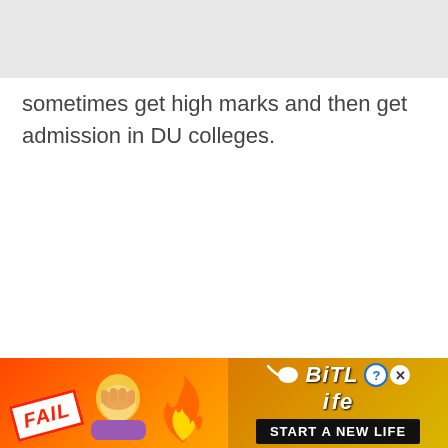sometimes get high marks and then get admission in DU colleges.
“Students from other states get admission in DU colleges… has
[Figure (screenshot): Advertisement banner for BitLife mobile game, featuring fire background, a cartoon character doing a facepalm, FAIL badge, BitLife logo with sperm icon, help and close buttons, and 'START A NEW LIFE' button.]